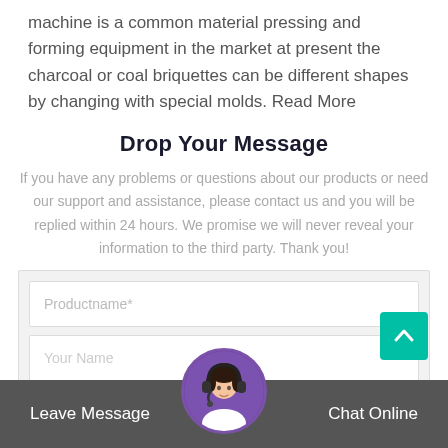machine is a common material pressing and forming equipment in the market at present the charcoal or coal briquettes can be different shapes by changing with special molds. Read More
Drop Your Message
If you have any problems or questions about our products or need our support and assistance, please contact us and you will be replied within 24 hours. We promise we will never reveal your information to the third party. Thank you!
[Figure (screenshot): Contact form with Productname* and Your Name input fields]
[Figure (photo): Customer support agent avatar with headset, circular photo]
Leave Message   Chat Online